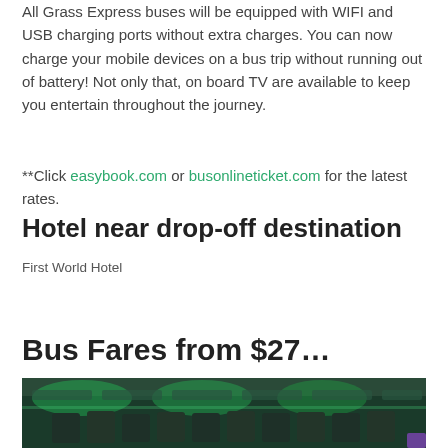All Grass Express buses will be equipped with WIFI and USB charging ports without extra charges. You can now charge your mobile devices on a bus trip without running out of battery! Not only that, on board TV are available to keep you entertain throughout the journey.
**Click easybook.com or busonlineticket.com for the latest rates.
Hotel near drop-off destination
First World Hotel
Bus Fares from $27…
[Figure (photo): Interior of a Grass Express bus showing green ambient lighting, overhead panels, and passengers seated in reclining seats.]